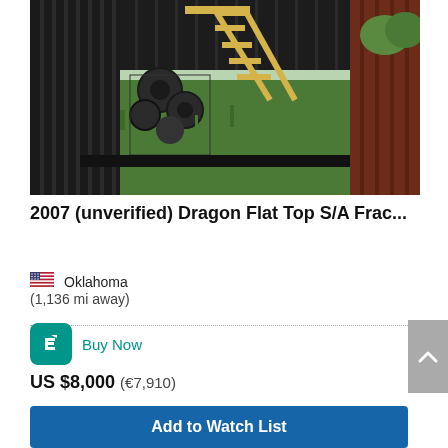[Figure (photo): Industrial equipment photo showing a dark metal structure with yellow wooden stairs/steps in a grassy outdoor setting, with corrugated metal walls visible in the background.]
2007 (unverified) Dragon Flat Top S/A Frac...
Oklahoma
(1,136 mi away)
Buy Now
US $8,000 (€7,910)
Add to Watch List